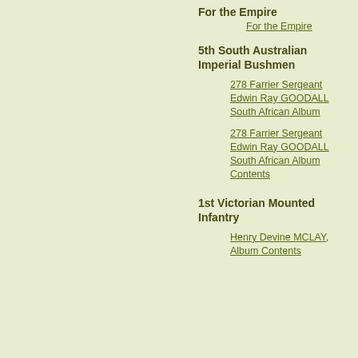For the Empire
For the Empire
5th South Australian Imperial Bushmen
278 Farrier Sergeant Edwin Ray GOODALL South African Album
278 Farrier Sergeant Edwin Ray GOODALL South African Album Contents
1st Victorian Mounted Infantry
Henry Devine MCLAY, Album Contents